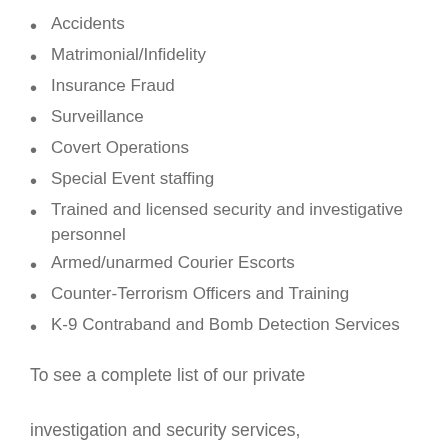Accidents
Matrimonial/Infidelity
Insurance Fraud
Surveillance
Covert Operations
Special Event staffing
Trained and licensed security and investigative personnel
Armed/unarmed Courier Escorts
Counter-Terrorism Officers and Training
K-9 Contraband and Bomb Detection Services
To see a complete list of our private
investigation and security services,